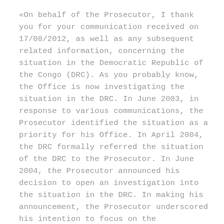«On behalf of the Prosecutor, I thank you for your communication received on 17/08/2012, as well as any subsequent related information, concerning the situation in the Democratic Republic of the Congo (DRC). As you probably know, the Office is now investigating the situation in the DRC. In June 2003, in response to various communications, the Prosecutor identified the situation as a priority for his Office. In April 2004, the DRC formally referred the situation of the DRC to the Prosecutor. In June 2004, the Prosecutor announced his decision to open an investigation into the situation in the DRC. In making his announcement, the Prosecutor underscored his intention to focus on the perpetrators most responsible for crimes within the jurisdiction of the Court now being committed in the DRC. (…)»